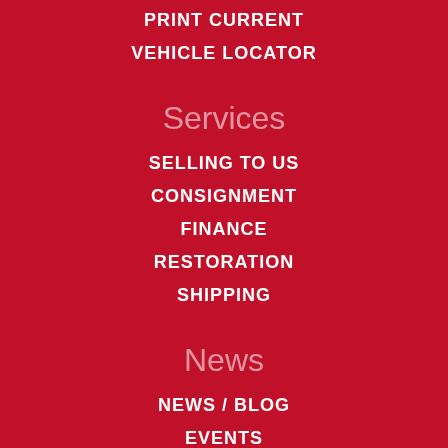PRINT CURRENT
VEHICLE LOCATOR
Services
SELLING TO US
CONSIGNMENT
FINANCE
RESTORATION
SHIPPING
News
NEWS / BLOG
EVENTS
NEWSLETTER SIGNUP